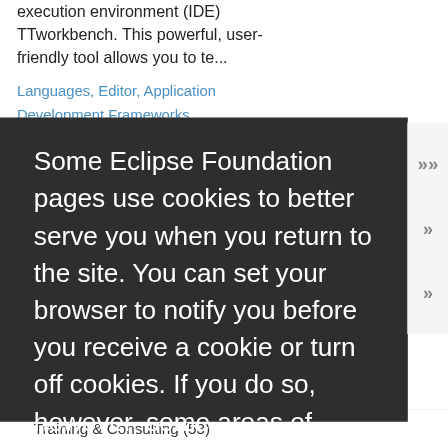execution environment (IDE) TTworkbench. This powerful, user-friendly tool allows you to te...
Languages, Editor, Application Development Frameworks, Documentation, IDE
Some Eclipse Foundation pages use cookies to better serve you when you return to the site. You can set your browser to notify you before you receive a cookie or turn off cookies. If you do so, however, some areas of some sites may not function properly. To read Eclipse Foundation Privacy Policy click here.
Decline
Allow cookies
Training & Consulting (53)